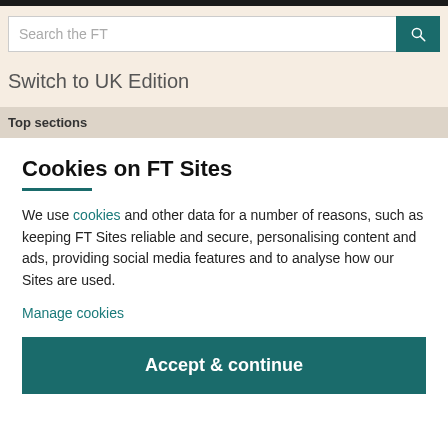Search the FT
Switch to UK Edition
Top sections
Cookies on FT Sites
We use cookies and other data for a number of reasons, such as keeping FT Sites reliable and secure, personalising content and ads, providing social media features and to analyse how our Sites are used.
Manage cookies
Accept & continue